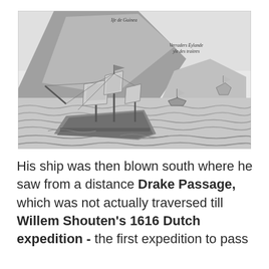[Figure (illustration): A historical engraving depicting a large sailing ship (galleon) in the foreground on choppy waters, with smaller boats and a dramatic rocky coastline in the background. Text labels visible in the image: 'Ife de Guinea' (upper left) and 'Verraders Eylande / yle des traitres' (upper right).]
His ship was then blown south where he saw from a distance Drake Passage, which was not actually traversed till Willem Shouten's 1616 Dutch expedition - the first expedition to pass Cape Horn.